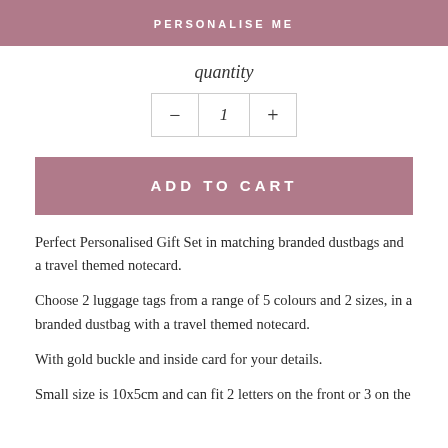PERSONALISE ME
quantity
— 1 +
ADD TO CART
Perfect Personalised Gift Set in matching branded dustbags and a travel themed notecard.
Choose 2 luggage tags from a range of 5 colours and 2 sizes, in a branded dustbag with a travel themed notecard.
With gold buckle and inside card for your details.
Small size is 10x5cm and can fit 2 letters on the front or 3 on the